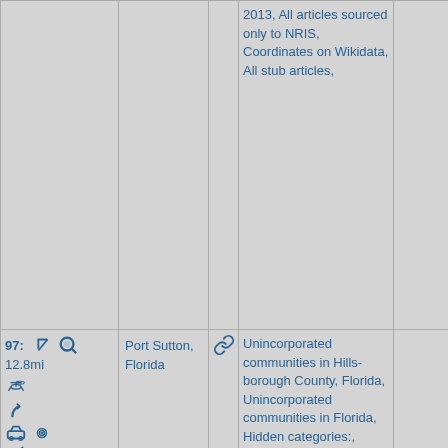| Controls | Place | Link | Categories |  |
| --- | --- | --- | --- | --- |
| (icons) |  |  | 2013, All articles sourced only to NRIS, Coordinates on Wikidata, All stub articles, |  |
| 97: 12.8mi (icons) | Port Sutton, Florida | (link icon) | Unincorporated communities in Hills-borough County, Florida, Unincorporated communities in Florida, Hidden categories:, Coordinates on Wikidata, |  |